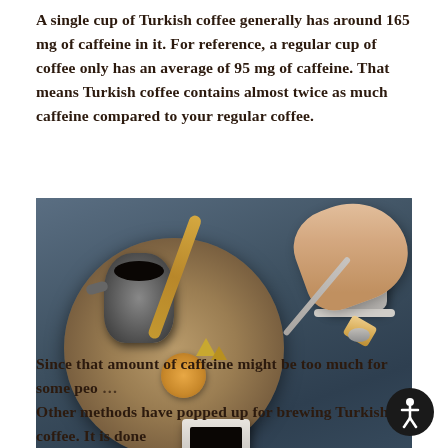A single cup of Turkish coffee generally has around 165 mg of caffeine in it. For reference, a regular cup of coffee only has an average of 95 mg of caffeine. That means Turkish coffee contains almost twice as much caffeine compared to your regular coffee.
[Figure (photo): Overhead view of Turkish coffee service on a dark slate/chalkboard surface. A decorative metal tray holds a cezve (small coffee pot) and a golden ornamental spoon. Two small white cups filled with dark coffee are visible, and a hand reaches in from the right holding a spoon with a piece of biscuit dipping into one cup.]
Since that amount of caffeine might be too much for some peo... Other methods have popped up for brewing Turkish coffee. It is done